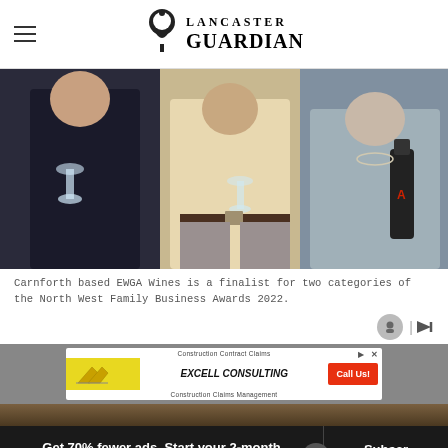Lancaster Guardian
[Figure (photo): Three people standing together holding champagne flutes and a dark bottle with black wrapping, at what appears to be an awards event. Two men and a woman visible.]
Carnforth based EWGA Wines is a finalist for two categories of the North West Family Business Awards 2022.
[Figure (other): Excell Consulting advertisement banner: yellow logo, text 'Construction Contract Claims', 'EXCELL CONSULTING', 'Construction Claims Management', orange 'Call Us!' button]
Get 70% fewer ads. Start your 2-month trial for just £2 per month
Subscribe Today